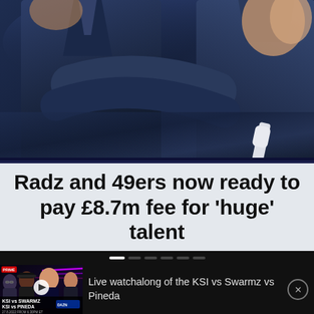[Figure (photo): Photo of two people in dark suits appearing to be in a confrontation or close conversation, likely at a football/soccer event. Dark navy blue color tones.]
Radz and 49ers now ready to pay £8.7m fee for 'huge' talent
[Figure (screenshot): Ad thumbnail showing KSI vs Swarmz vs Pineda boxing event promotional image with multiple faces, neon purple accents, and Dazn branding. Shows 'LIVE WATCHALONG' text and event details '27.8.2022 FROM 6.30PM ET']
Live watchalong of the KSI vs Swarmz vs Pineda